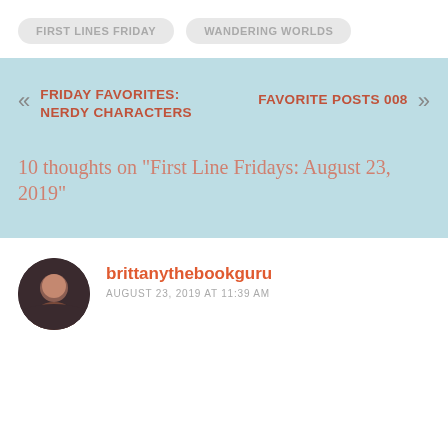FIRST LINES FRIDAY
WANDERING WORLDS
FRIDAY FAVORITES: NERDY CHARACTERS
FAVORITE POSTS 008
10 thoughts on “First Line Fridays: August 23, 2019”
brittanythebookguru
AUGUST 23, 2019 AT 11:39 AM